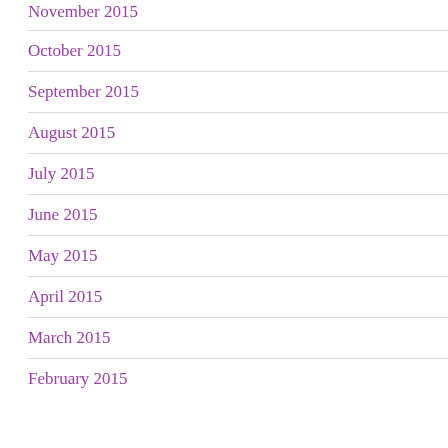November 2015
October 2015
September 2015
August 2015
July 2015
June 2015
May 2015
April 2015
March 2015
February 2015